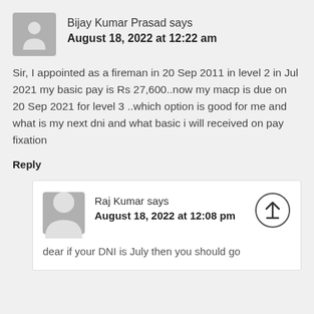Bijay Kumar Prasad says
August 18, 2022 at 12:22 am
Sir, I appointed as a fireman in 20 Sep 2011 in level 2 in Jul 2021 my basic pay is Rs 27,600..now my macp is due on 20 Sep 2021 for level 3 ..which option is good for me and what is my next dni and what basic i will received on pay fixation
Reply
Raj Kumar says
August 18, 2022 at 12:08 pm
dear if your DNI is July then you should go